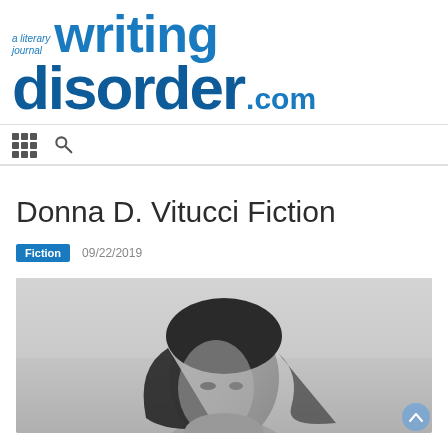[Figure (logo): Writing Disorder literary journal logo in blue with 'a literary journal' small text, 'writing' large, 'disorder.com' large]
[Figure (other): Navigation bar with grid/menu icon and search magnifying glass icon]
Donna D. Vitucci Fiction
Fiction  09/22/2019
[Figure (photo): Black and white photograph of a woman with dark hair, partial face visible]